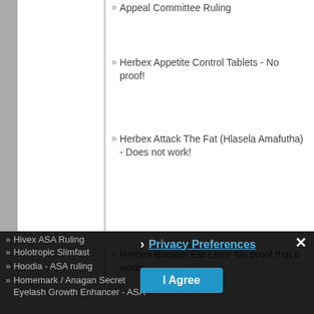Appeal Committee Ruling
Herbex Appetite Control Tablets - No proof!
Herbex Attack The Fat (Hlasela Amafutha) - Does not work!
Herbex Booster Eat Less- No proof that it works
Herbex Fat Burn For Men - ASA ruling
Herbex misleads after legal setback
Herbex Slimmers Drops & Tablets "Rene" advert
Hivex ASA Ruling
Holotropic Slimfast
Hoodia - ASA ruling
Homemark / Anagan Secret Eyelash Growth Enhancer - ASA
Privacy Preferences
I Agree